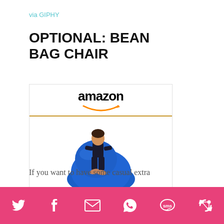via GIPHY
OPTIONAL: BEAN BAG CHAIR
[Figure (other): Amazon product widget showing Big Joe Classic Beanbag with price $40.00 and Prime badge, Shop now button]
If you want to have some casual extra
Social share icons: Twitter, Facebook, Email, WhatsApp, SMS, Share